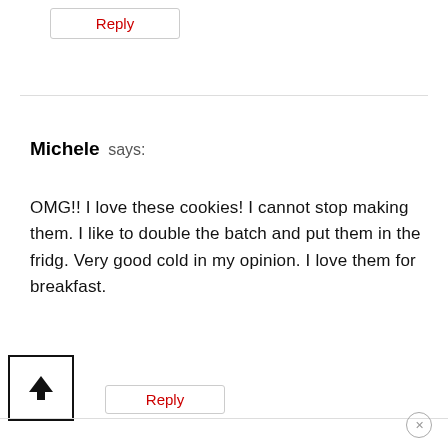Reply
Michele says:
OMG!! I love these cookies! I cannot stop making them. I like to double the batch and put them in the fridg. Very good cold in my opinion. I love them for breakfast.
Reply